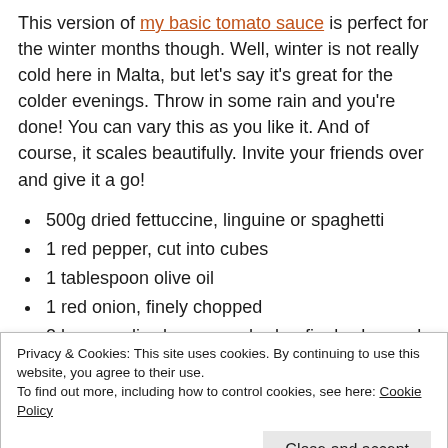This version of my basic tomato sauce is perfect for the winter months though. Well, winter is not really cold here in Malta, but let's say it's great for the colder evenings. Throw in some rain and you're done! You can vary this as you like it. And of course, it scales beautifully. Invite your friends over and give it a go!
500g dried fettuccine, linguine or spaghetti
1 red pepper, cut into cubes
1 tablespoon olive oil
1 red onion, finely chopped
2 large garlic cloves, crushed or finely chopped
¼ teaspoon dried chilli flakes
Privacy & Cookies: This site uses cookies. By continuing to use this website, you agree to their use.
To find out more, including how to control cookies, see here: Cookie Policy
Close and accept